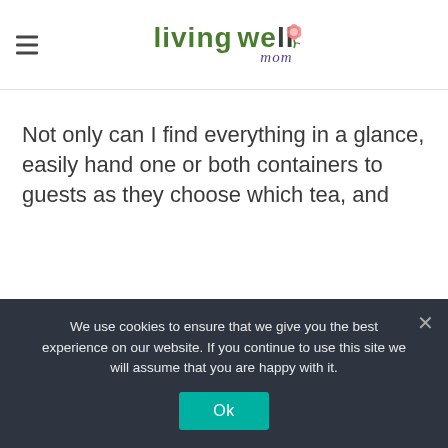Living Well Mom
Not only can I find everything in a glance, easily hand one or both containers to guests as they choose which tea, and
We use cookies to ensure that we give you the best experience on our website. If you continue to use this site we will assume that you are happy with it. Ok